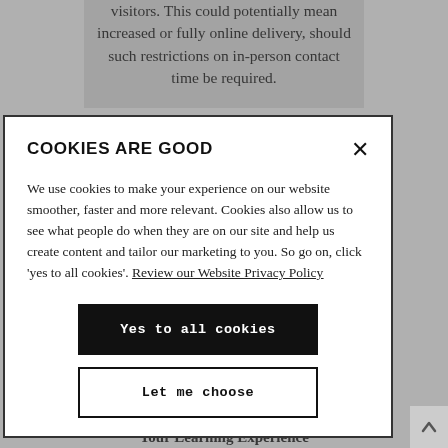visitors. This could potentially mean increased or fully online delivery, should such restrictions on in-person contact time be required.
COOKIES ARE GOOD
We use cookies to make your experience on our website smoother, faster and more relevant. Cookies also allow us to see what people do when they are on our site and help us create content and tailor our marketing to you. So go on, click 'yes to all cookies'. Review our Website Privacy Policy
Yes to all cookies
Let me choose
Your Learning Experience